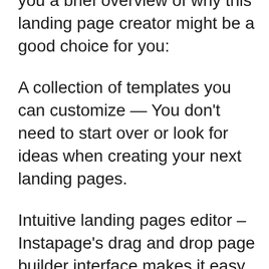you a brief overview of why this landing page creator might be a good choice for you:
A collection of templates you can customize — You don't need to start over or look for ideas when creating your next landing pages.
Intuitive landing pages editor – Instapage's drag and drop page builder interface makes it easy to create a new page or modify one of its many templates.
Instapage is an efficient form builder. You can easily create customized forms